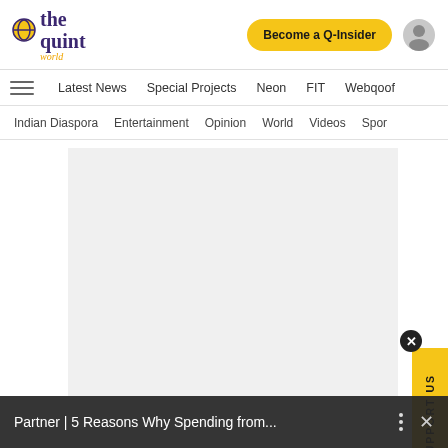[Figure (logo): The Quint World logo with purple text and yellow/orange world icon]
Become a Q-Insider | user account icon
Latest News | Special Projects | Neon | FIT | Webqoof
Indian Diaspora | Entertainment | Opinion | World | Videos | Spor
[Figure (other): Light gray advertisement placeholder rectangle]
SUPPORT US
Partner | 5 Reasons Why Spending from...